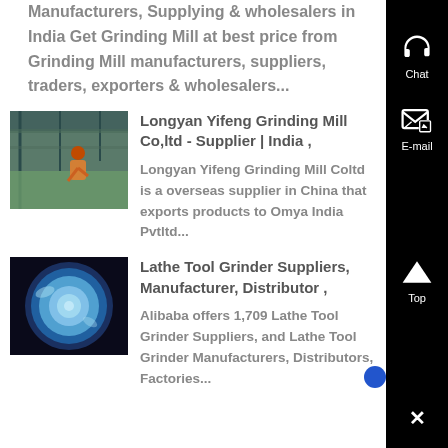Manufacturers, Supplying & wholesalers in India Get Grinding Mill at best price from Grinding Mill manufacturers, suppliers, traders, exporters & wholesalers...
[Figure (photo): Worker in hard hat on industrial grinding mill equipment in a factory]
Longyan Yifeng Grinding Mill Co,ltd - Supplier | India ,
Longyan Yifeng Grinding Mill Coltd is a overseas supplier in China that exports products to Omya India Pvtltd...
[Figure (photo): Blue grinding disk/lathe tool grinder seen from above with water cooling]
Lathe Tool Grinder Suppliers, Manufacturer, Distributor ,
Alibaba offers 1,709 Lathe Tool Grinder Suppliers, and Lathe Tool Grinder Manufacturers, Distributors, Factories...